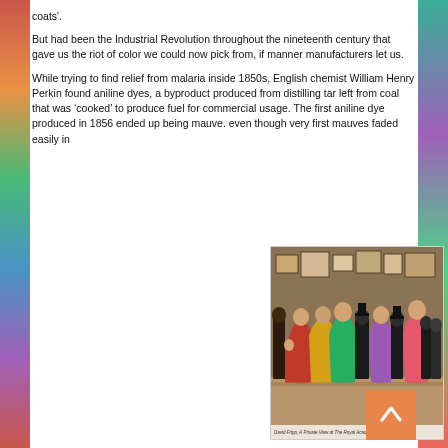coats'.
But had been the Industrial Revolution throughout the nineteenth century that gave us the riot of color we could now pick from, if manner manufacturers let us.
While trying to find relief from malaria inside 1850s, English chemist William Henry Perkin found aniline dyes, a byproduct produced from distilling tar left from coal that was ‘cooked’ to produce fuel for commercial usage. The first aniline dye produced in 1856 ended up being mauve. even though very first mauves faded easily in
[Figure (photo): A Victorian-era painting showing elegantly dressed people in colorful period clothing at what appears to be an art gallery or social gathering. Caption reads: David Fripp, A Private View at The Royal Academy, 1881, by William Powell Frith.]
David Fripp, A Private View at The Royal Academy, 1881, by William Powell Frith